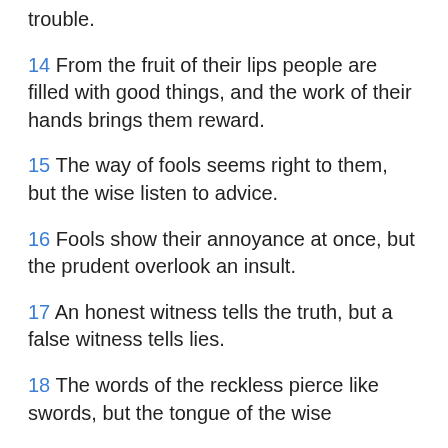trouble.
14 From the fruit of their lips people are filled with good things, and the work of their hands brings them reward.
15 The way of fools seems right to them, but the wise listen to advice.
16 Fools show their annoyance at once, but the prudent overlook an insult.
17 An honest witness tells the truth, but a false witness tells lies.
18 The words of the reckless pierce like swords, but the tongue of the wise